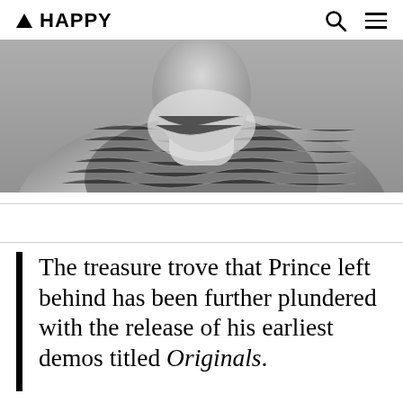▲ HAPPY
[Figure (photo): Black and white close-up photograph of a person wearing a patterned high-neck garment, face partially obscured, likely Prince]
The treasure trove that Prince left behind has been further plundered with the release of his earliest demos titled Originals.